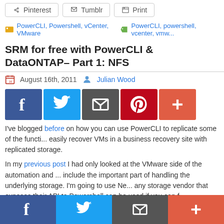Pinterest  Tumblr  Print
PowerCLI, Powershell, vCenter, VMware   PowerCLI, powershell, vcenter, vmw...
SRM for free with PowerCLI & DataONTAP– Part 1: NFS
August 16th, 2011  Julian Wood
[Figure (infographic): Social share icon buttons: Facebook (blue), Twitter (light blue), Email/share (grey), Pinterest (red), Plus/more (orange-red)]
I've blogged before on how you can use PowerCLI to replicate some of the functi... easily recover VMs in a business recovery site with replicated storage.
In my previous post I had only looked at the VMware side of the automation and ... include the important part of handling the underlying storage. I'm going to use Ne... any storage vendor that exposes their API to Powershell can be used if you can f...
This is where the awesomeness of Powershell really comes into its own when yo... both VMware and NetApp in a single script.
You will obviously need both PowerCLI and Netapp's DataONTAP installed. See... Powershell Profile for getting everything installed.
Read more…
[Figure (infographic): Bottom social share bar with Facebook, Twitter, Email/share, and Plus buttons]